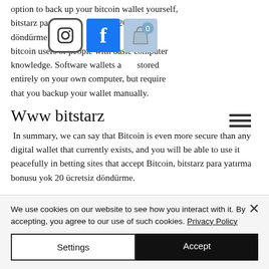option to back up your bitcoin wallet yourself, bitstarz para yatırma bonusu yok 20 ücretsiz döndürme. Th recommend for new bitcoin users or people with basic computer knowledge. Software wallets are stored entirely on your own computer, but require that you backup your wallet manually.
Www bitstarz
In summary, we can say that Bitcoin is even more secure than any digital wallet that currently exists, and you will be able to use it peacefully in betting sites that accept Bitcoin, bitstarz para yatırma bonusu yok 20 ücretsiz döndürme.
We use cookies on our website to see how you interact with it. By accepting, you agree to our use of such cookies. Privacy Policy